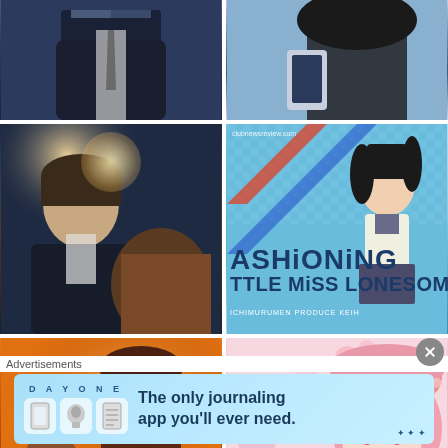[Figure (illustration): Manga/anime style: partial view of a man in dark suit from chest down, dark blue background]
[Figure (illustration): Manga/anime style: girl with long dark hair holding a phone, blue tones]
[Figure (illustration): Manga/anime style romance scene: man and woman close together in dark/night setting with light glow]
[Figure (illustration): Manga book cover: 'ASHiONiNG LITTLE MiSS LONESOME' with anime girl in school uniform on blue checkered background]
[Figure (illustration): Manga/anime style: warm orange-toned scene with two characters close together]
[Figure (illustration): Manga/anime style: pink-haired girl with floral background in soft pink tones]
Advertisements
[Figure (other): DAY ONE journaling app advertisement banner: 'The only journaling app you'll ever need.' with app icons on light blue gradient background]